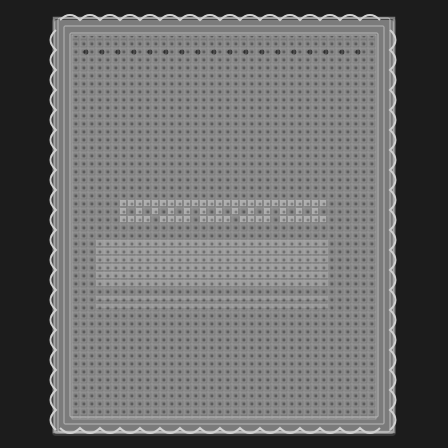[Figure (photo): A white filet crochet rectangular doily or table runner photographed against a dark (near-black) background. The piece features an open mesh/net crochet pattern with a decorative scalloped or picot border along all four edges. The center area shows a slightly denser pattern or motif in the filet crochet work, creating a subtle design within the mesh grid. The lace work is handmade-style white cotton thread crochet.]